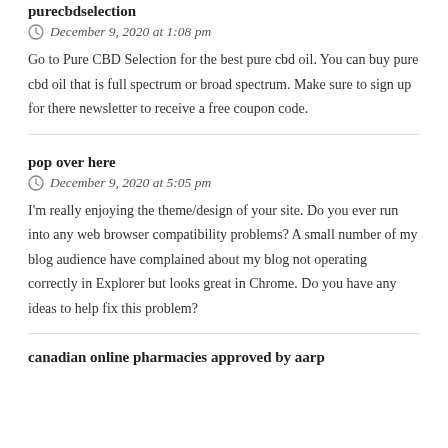purecbdselection
December 9, 2020 at 1:08 pm
Go to Pure CBD Selection for the best pure cbd oil. You can buy pure cbd oil that is full spectrum or broad spectrum. Make sure to sign up for there newsletter to receive a free coupon code.
pop over here
December 9, 2020 at 5:05 pm
I'm really enjoying the theme/design of your site. Do you ever run into any web browser compatibility problems? A small number of my blog audience have complained about my blog not operating correctly in Explorer but looks great in Chrome. Do you have any ideas to help fix this problem?
canadian online pharmacies approved by aarp